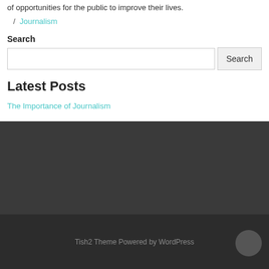of opportunities for the public to improve their lives.
/ Journalism
Search
Latest Posts
The Importance of Journalism
Tish2 Theme Powered by WordPress